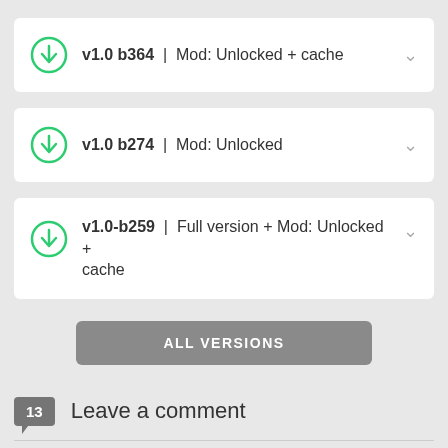v1.0 b364  |  Mod: Unlocked + cache
v1.0 b274  |  Mod: Unlocked
v1.0-b259  |  Full version + Mod: Unlocked + cache
ALL VERSIONS
13  Leave a comment